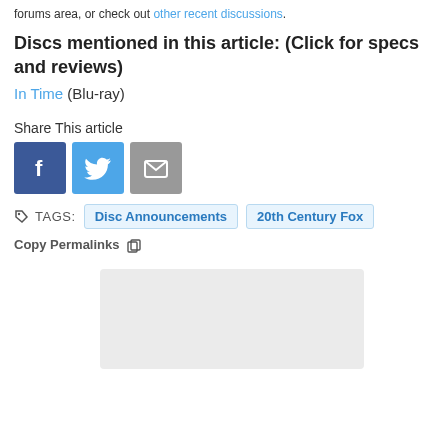forums area, or check out other recent discussions.
Discs mentioned in this article: (Click for specs and reviews)
In Time (Blu-ray)
Share This article
[Figure (infographic): Social share buttons: Facebook (blue), Twitter (light blue), Email (grey)]
TAGS: Disc Announcements 20th Century Fox
Copy Permalinks
[Figure (other): Grey advertisement placeholder box]